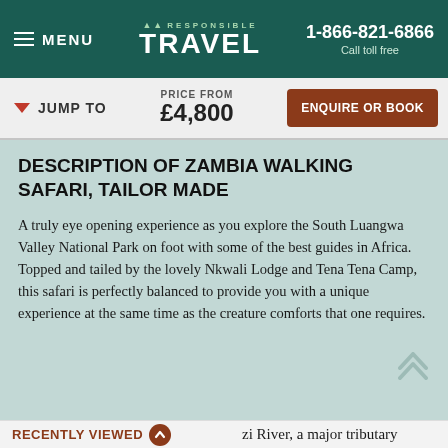MENU | RESPONSIBLE TRAVEL | 1-866-821-6866 Call toll free
JUMP TO | PRICE FROM £4,800 | ENQUIRE OR BOOK
DESCRIPTION OF ZAMBIA WALKING SAFARI, TAILOR MADE
A truly eye opening experience as you explore the South Luangwa Valley National Park on foot with some of the best guides in Africa. Topped and tailed by the lovely Nkwali Lodge and Tena Tena Camp, this safari is perfectly balanced to provide you with a unique experience at the same time as the creature comforts that one requires.
RECENTLY VIEWED | zi River, a major tributary